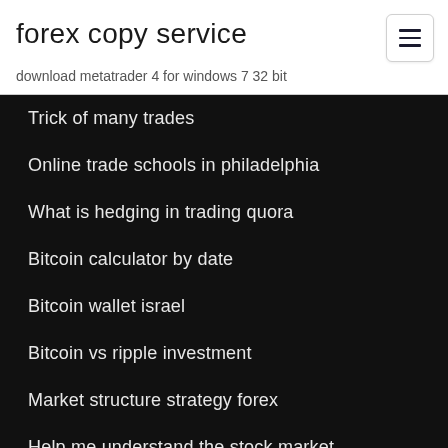forex copy service
download metatrader 4 for windows 7 32 bit
Trick of many trades
Online trade schools in philadelphia
What is hedging in trading quora
Bitcoin calculator by date
Bitcoin wallet israel
Bitcoin vs ripple investment
Market structure strategy forex
Help me understand the stock market
Truth about online trading academy
Top privacy coins crypto